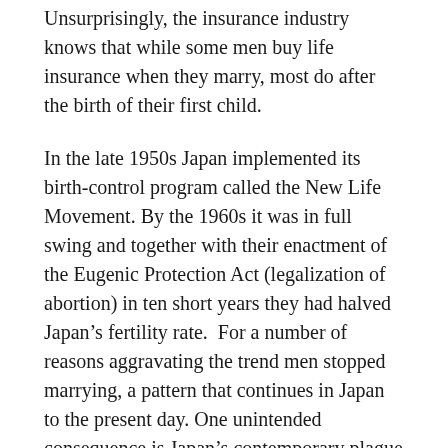Unsurprisingly, the insurance industry knows that while some men buy life insurance when they marry, most do after the birth of their first child.
In the late 1950s Japan implemented its birth-control program called the New Life Movement. By the 1960s it was in full swing and together with their enactment of the Eugenic Protection Act (legalization of abortion) in ten short years they had halved Japan's fertility rate.  For a number of reasons aggravating the trend men stopped marrying, a pattern that continues in Japan to the present day. One unintended consequence is Japan's contemporary plague of “kodokushi” meaning “lonely death.”  This refers to people  dying alone and being discovered in some cases, only weeks later. According to Tokyo's Meiji University, almost all kodokushi cases involve men who never had children.
Men who become fathers, real fathers, are doing both them...